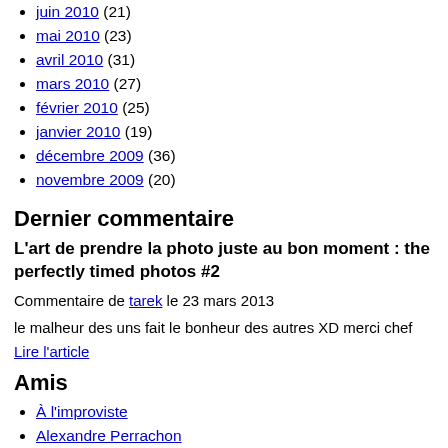juin 2010 (21)
mai 2010 (23)
avril 2010 (31)
mars 2010 (27)
février 2010 (25)
janvier 2010 (19)
décembre 2009 (36)
novembre 2009 (20)
Dernier commentaire
L'art de prendre la photo juste au bon moment : the perfectly timed photos #2
Commentaire de tarek le 23 mars 2013
le malheur des uns fait le bonheur des autres XD merci chef
Lire l'article
Amis
À l'improviste
Alexandre Perrachon